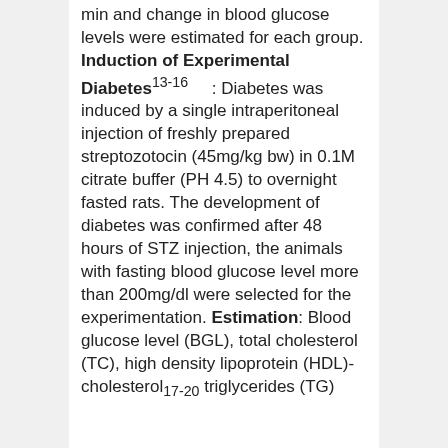min and change in blood glucose levels were estimated for each group. Induction of Experimental Diabetes13-16: Diabetes was induced by a single intraperitoneal injection of freshly prepared streptozotocin (45mg/kg bw) in 0.1M citrate buffer (PH 4.5) to overnight fasted rats. The development of diabetes was confirmed after 48 hours of STZ injection, the animals with fasting blood glucose level more than 200mg/dl were selected for the experimentation. Estimation: Blood glucose level (BGL), total cholesterol (TC), high density lipoprotein (HDL)-cholesterol17-20 triglycerides (TG)